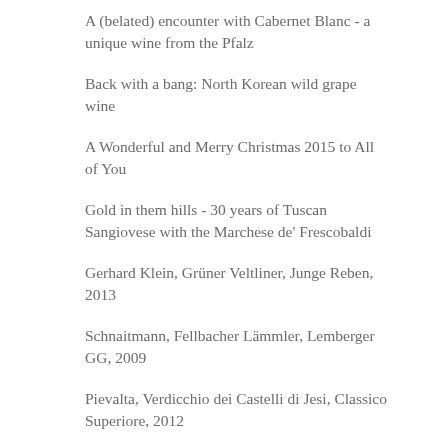A (belated) encounter with Cabernet Blanc - a unique wine from the Pfalz
Back with a bang: North Korean wild grape wine
A Wonderful and Merry Christmas 2015 to All of You
Gold in them hills - 30 years of Tuscan Sangiovese with the Marchese de' Frescobaldi
Gerhard Klein, Grüner Veltliner, Junge Reben, 2013
Schnaitmann, Fellbacher Lämmler, Lemberger GG, 2009
Pievalta, Verdicchio dei Castelli di Jesi, Classico Superiore, 2012
Bodegas Mauro, Vendimia Seleccionada 2003
German Gin, with Riesling? Ferdinand's Saar Dry Gin!